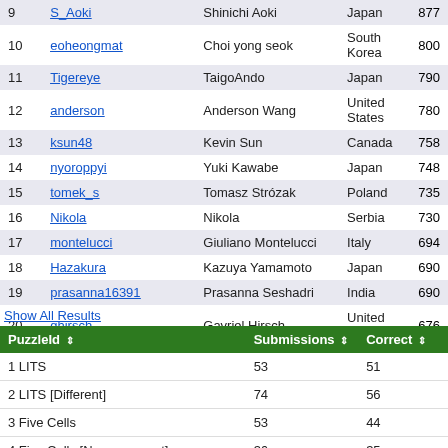| # | Username | Name | Country | Score |
| --- | --- | --- | --- | --- |
| 9 | S_Aoki | Shinichi Aoki | Japan | 877 |
| 10 | eoheongmat | Choi yong seok | South Korea | 800 |
| 11 | Tigereye | TaigoAndo | Japan | 790 |
| 12 | anderson | Anderson Wang | United States | 780 |
| 13 | ksun48 | Kevin Sun | Canada | 758 |
| 14 | nyoroppyi | Yuki Kawabe | Japan | 748 |
| 15 | tomek_s | Tomasz Strózak | Poland | 735 |
| 16 | Nikola | Nikola | Serbia | 730 |
| 17 | montelucci | Giuliano Montelucci | Italy | 694 |
| 18 | Hazakura | Kazuya Yamamoto | Japan | 690 |
| 19 | prasanna16391 | Prasanna Seshadri | India | 690 |
| 20 | ghirsch | Gavriel Hirsch | United States | 676 |
Show All Results
| PuzzleId | Submissions | Correct |
| --- | --- | --- |
| 1 LITS | 53 | 51 |
| 2 LITS [Different] | 74 | 56 |
| 3 Five Cells | 53 | 44 |
| 4 Five Cells [Noncongruent] | 36 | 35 |
| 5 Dominosweeper | 68 | 61 |